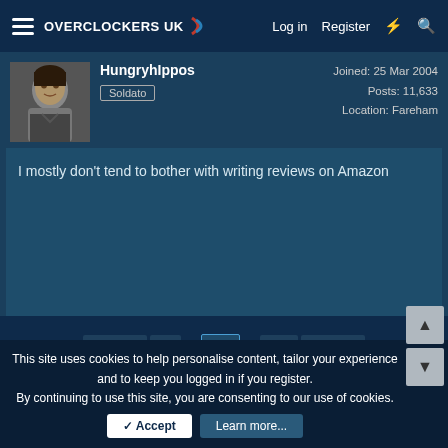OVERCLOCKERS UK | Log in | Register
HungryhIppos
Soldato
Joined: 25 Mar 2004
Posts: 11,633
Location: Fareham
I mostly don't tend to bother with writing reviews on Amazon
◄ Prev  1  ...  49  ...  63  Next ►
You must log in or register to reply here.
Share:
This site uses cookies to help personalise content, tailor your experience and to keep you logged in if you register.
By continuing to use this site, you are consenting to our use of cookies.
✓ Accept   Learn more...